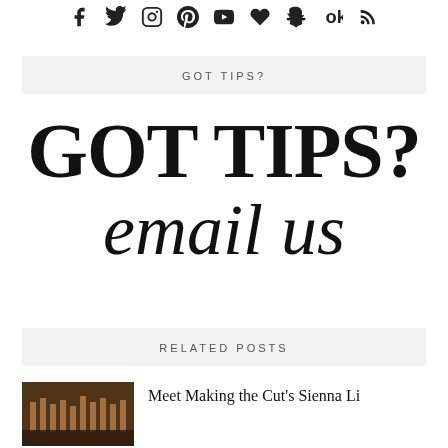[Figure (other): Row of social media icons: Facebook, Twitter, Instagram, Pinterest, YouTube, Heart/Bloglovin, Snapchat, OK, RSS]
GOT TIPS?
GOT TIPS?
email us
RELATED POSTS
[Figure (photo): Thumbnail image showing a dark interior scene]
Meet Making the Cut's Sienna Li